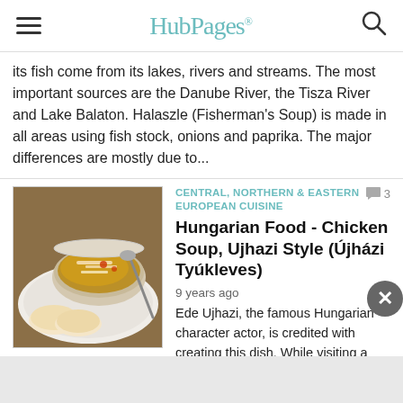HubPages
its fish come from its lakes, rivers and streams. The most important sources are the Danube River, the Tisza River and Lake Balaton. Halaszle (Fisherman's Soup) is made in all areas using fish stock, onions and paprika. The major differences are mostly due to...
[Figure (photo): A white bowl of chicken soup with shredded meat and vegetables, served on a white plate with slices of bread and a spoon.]
CENTRAL, NORTHERN & EASTERN EUROPEAN CUISINE
Hungarian Food - Chicken Soup, Ujhazi Style (Újházi Tyúkleves)
9 years ago
Ede Ujhazi, the famous Hungarian character actor, is credited with creating this dish. While visiting a small restaurant in Budapest, Ujhazi was not satisfied with the soup that he was served so he instructed the chef to prepare it again under his